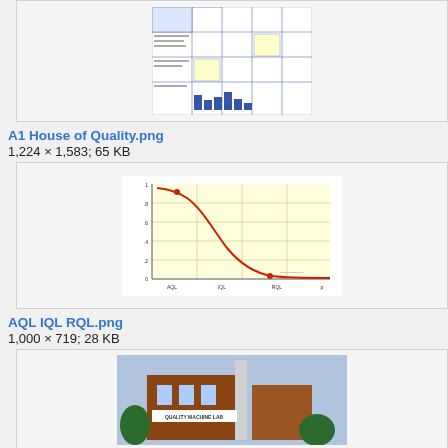[Figure (schematic): Thumbnail of A1 House of Quality matrix diagram with blue gridlines and text]
A1 House of Quality.png
1,224 × 1,583; 65 KB
[Figure (continuous-plot): Thumbnail of AQL IQL RQL curve chart on yellow background, showing a decreasing red S-curve]
AQL IQL RQL.png
1,000 × 719; 28 KB
[Figure (photo): Thumbnail of a building exterior with sign reading QUALITY MACHINE LAB]